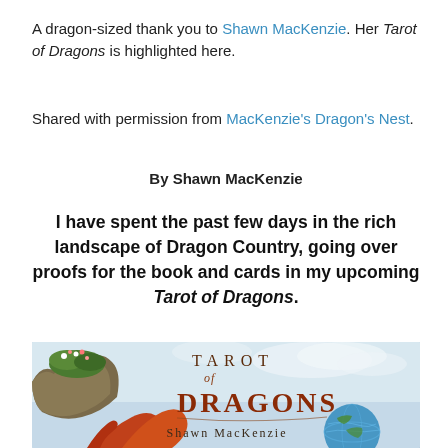A dragon-sized thank you to Shawn MacKenzie. Her Tarot of Dragons is highlighted here.
Shared with permission from MacKenzie's Dragon's Nest.
By Shawn MacKenzie
I have spent the past few days in the rich landscape of Dragon Country, going over proofs for the book and cards in my upcoming Tarot of Dragons.
[Figure (photo): Book cover for Tarot of Dragons by Shawn MacKenzie, featuring fantasy dragon artwork with the title text 'TAROT of DRAGONS' and author name 'Shawn MacKenzie' on a sky background with a dragon and globe.]